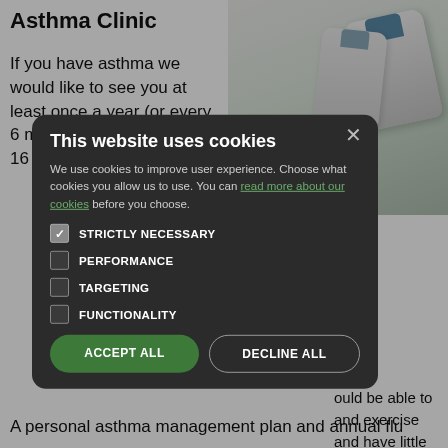Asthma Clinic
If you have asthma we would like to see you at least once a year (or every 6 months if you are under 16 years) for a
[Figure (photo): Photo of inhalers on a light background]
ould be able to and exercise and have little
ing the day,
uss any cing any
A personal asthma management plan and annual flu
[Figure (screenshot): Cookie consent modal overlay with title 'This website uses cookies', checkboxes for STRICTLY NECESSARY, PERFORMANCE, TARGETING, FUNCTIONALITY, and two buttons ACCEPT ALL and DECLINE ALL]